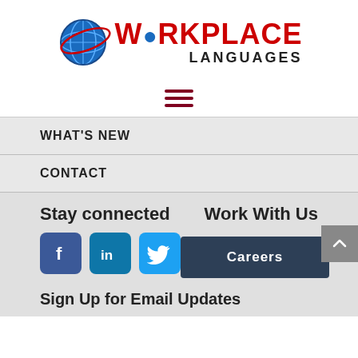[Figure (logo): Workplace Languages logo with globe graphic and red/dark text]
[Figure (other): Hamburger menu icon (three dark red horizontal lines)]
WHAT'S NEW
CONTACT
Stay connected
Work With Us
[Figure (other): Facebook, LinkedIn, and Twitter social media icon buttons]
Careers
Sign Up for Email Updates